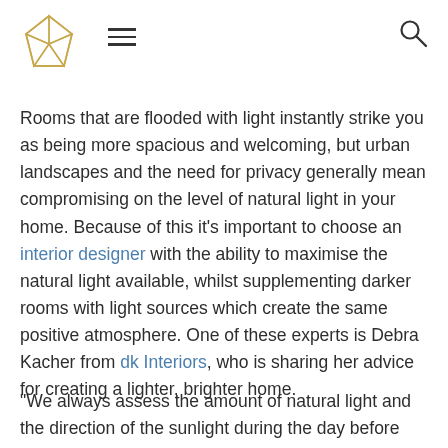[Logo] [Hamburger menu] [Search icon]
Rooms that are flooded with light instantly strike you as being more spacious and welcoming, but urban landscapes and the need for privacy generally mean compromising on the level of natural light in your home. Because of this it's important to choose an interior designer with the ability to maximise the natural light available, whilst supplementing darker rooms with light sources which create the same positive atmosphere. One of these experts is Debra Kacher from dk Interiors, who is sharing her advice for creating a lighter, brighter home.
“We always assess the amount of natural light and the direction of the sunlight during the day before